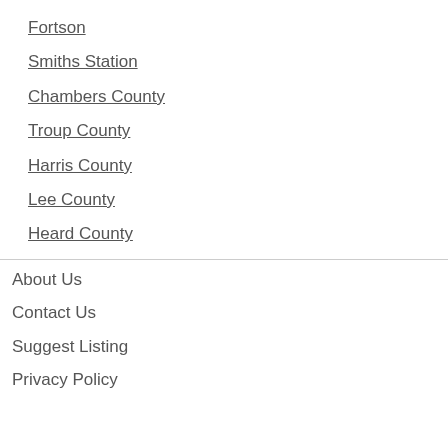Fortson
Smiths Station
Chambers County
Troup County
Harris County
Lee County
Heard County
About Us
Contact Us
Suggest Listing
Privacy Policy